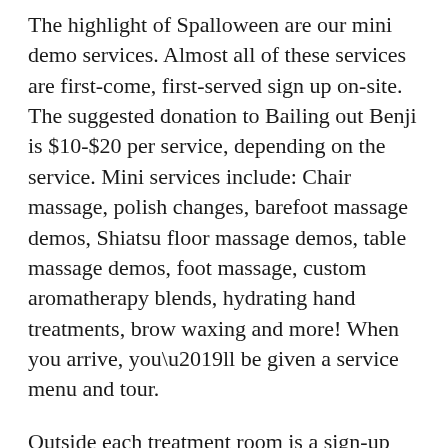The highlight of Spalloween are our mini demo services. Almost all of these services are first-come, first-served sign up on-site. The suggested donation to Bailing out Benji is $10-$20 per service, depending on the service. Mini services include: Chair massage, polish changes, barefoot massage demos, Shiatsu floor massage demos, table massage demos, foot massage, custom aromatherapy blends, hydrating hand treatments, brow waxing and more! When you arrive, you’ll be given a service menu and tour.
Outside each treatment room is a sign-up sheet. Sign your name next to an open time and return to the treatment room in time for